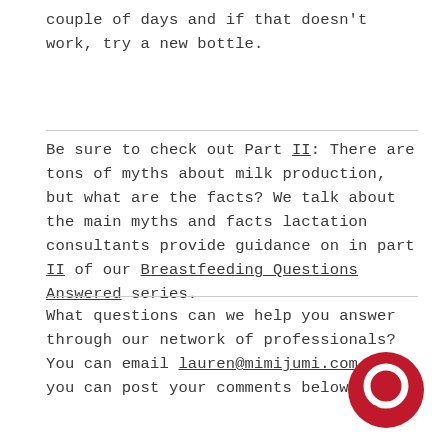couple of days and if that doesn't work, try a new bottle.
Be sure to check out Part II: There are tons of myths about milk production, but what are the facts? We talk about the main myths and facts lactation consultants provide guidance on in part II of our Breastfeeding Questions Answered series.
What questions can we help you answer through our network of professionals? You can email lauren@mimijumi.com or you can post your comments below.
[Figure (logo): Red circular chat bubble / logo icon in bottom right corner]